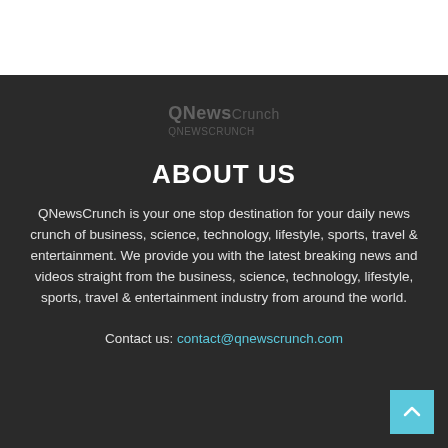[Figure (logo): QNewsCrunch logo in dark background, faded/watermark style]
ABOUT US
QNewsCrunch is your one stop destination for your daily news crunch of business, science, technology, lifestyle, sports, travel & entertainment. We provide you with the latest breaking news and videos straight from the business, science, technology, lifestyle, sports, travel & entertainment industry from around the world.
Contact us: contact@qnewscrunch.com